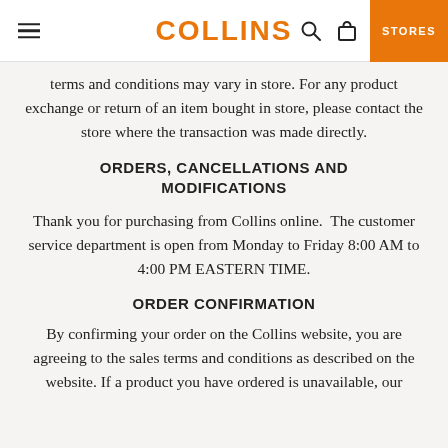COLLINS | STORES
terms and conditions may vary in store. For any product exchange or return of an item bought in store, please contact the store where the transaction was made directly.
ORDERS, CANCELLATIONS AND MODIFICATIONS
Thank you for purchasing from Collins online.  The customer service department is open from Monday to Friday 8:00 AM to 4:00 PM EASTERN TIME.
ORDER CONFIRMATION
By confirming your order on the Collins website, you are agreeing to the sales terms and conditions as described on the website. If a product you have ordered is unavailable, our